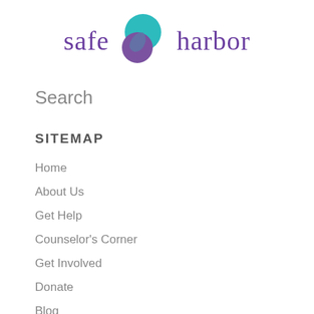[Figure (logo): Safe Harbor logo with teal and purple overlapping circles and the text 'safe harbor' in purple serif font]
Search
SITEMAP
Home
About Us
Get Help
Counselor's Corner
Get Involved
Donate
Blog
Media Kit